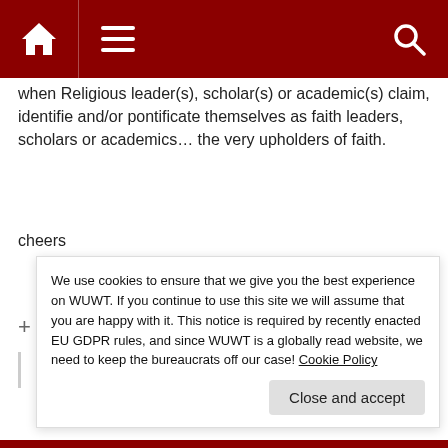[Figure (screenshot): Dark red navigation bar with home icon, hamburger menu icon, and search icon]
when Religious leader(s), scholar(s) or academic(s) claim, identifie and/or pontificate themselves as faith leaders, scholars or academics… the very upholders of faith.
cheers
Last edited 11 months ago by whiten
+ 1 −
whiten
We use cookies to ensure that we give you the best experience on WUWT. If you continue to use this site we will assume that you are happy with it. This notice is required by recently enacted EU GDPR rules, and since WUWT is a globally read website, we need to keep the bureaucrats off our case! Cookie Policy
Close and accept